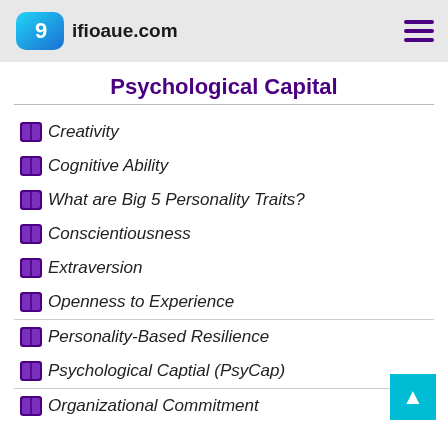ifioaue.com
Psychological Capital
Creativity
Cognitive Ability
What are Big 5 Personality Traits?
Conscientiousness
Extraversion
Openness to Experience
Personality-Based Resilience
Psychological Captial (PsyCap)
Organizational Commitment